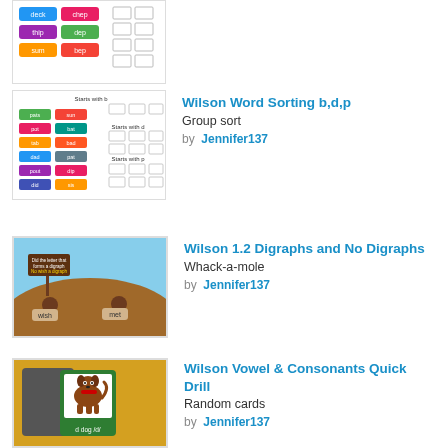[Figure (screenshot): Partial word sorting activity with colored word cards (deck, chep, thip, dep, sum, bep) and empty sort columns]
[Figure (screenshot): Wilson Word Sorting b,d,p group sort worksheet with colored word cards and columns labeled Starts with b, Starts with d, Starts with p]
Wilson Word Sorting b,d,p
Group sort
by Jennifer137
[Figure (screenshot): Wilson 1.2 Digraphs and No Digraphs whack-a-mole game with moles in dirt mounds, signs with 'wish' and 'met']
Wilson 1.2 Digraphs and No Digraphs
Whack-a-mole
by Jennifer137
[Figure (screenshot): Wilson Vowel and Consonants Quick Drill random cards showing gray card and green card with dog image labeled 'd dog /d/']
Wilson Vowel & Consonants Quick Drill
Random cards
by Jennifer137